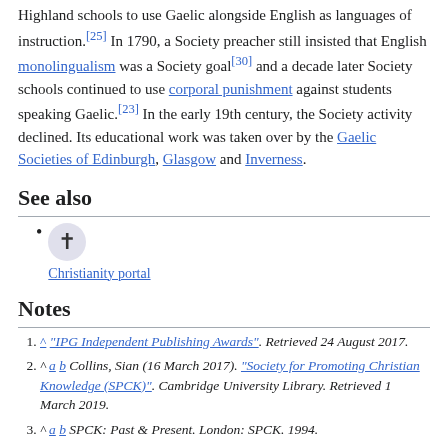Highland schools to use Gaelic alongside English as languages of instruction.[25] In 1790, a Society preacher still insisted that English monolingualism was a Society goal[30] and a decade later Society schools continued to use corporal punishment against students speaking Gaelic.[23] In the early 19th century, the Society activity declined. Its educational work was taken over by the Gaelic Societies of Edinburgh, Glasgow and Inverness.
See also
Christianity portal
Notes
1. ^ "IPG Independent Publishing Awards". Retrieved 24 August 2017.
2. ^ a b Collins, Sian (16 March 2017). "Society for Promoting Christian Knowledge (SPCK)". Cambridge University Library. Retrieved 1 March 2019.
3. ^ a b SPCK: Past & Present. London: SPCK. 1994.
4. ^ "Schooling before the 19th Century". Living Heritage. UK